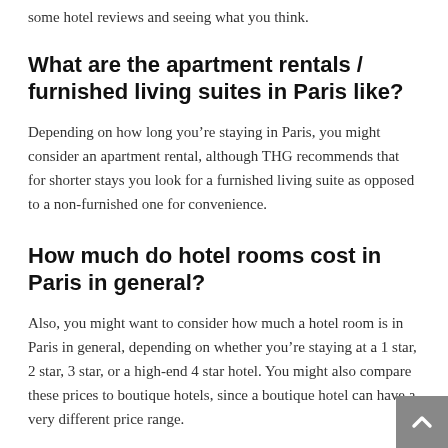some hotel reviews and seeing what you think.
What are the apartment rentals / furnished living suites in Paris like?
Depending on how long you’re staying in Paris, you might consider an apartment rental, although THG recommends that for shorter stays you look for a furnished living suite as opposed to a non-furnished one for convenience.
How much do hotel rooms cost in Paris in general?
Also, you might want to consider how much a hotel room is in Paris in general, depending on whether you’re staying at a 1 star, 2 star, 3 star, or a high-end 4 star hotel. You might also compare these prices to boutique hotels, since a boutique hotel can have a very different price range.